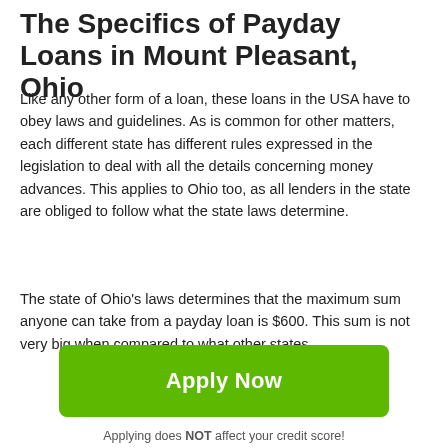The Specifics of Payday Loans in Mount Pleasant, Ohio
Like any other form of a loan, these loans in the USA have to obey laws and guidelines. As is common for other matters, each different state has different rules expressed in the legislation to deal with all the details concerning money advances. This applies to Ohio too, as all lenders in the state are obliged to follow what the state laws determine.
The state of Ohio's laws determines that the maximum sum anyone can take from a payday loan is $600. This sum is not very big when compared to what other states...
[Figure (other): Green 'Apply Now' button]
Applying does NOT affect your credit score!
No credit check to apply.